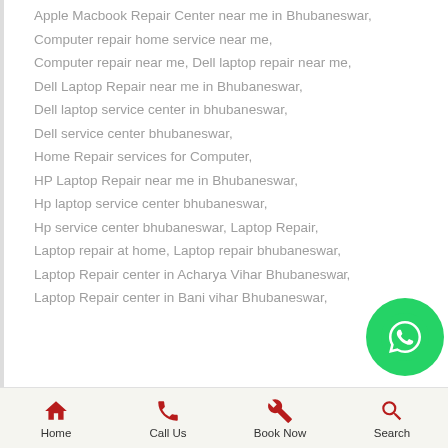Apple Macbook Repair Center near me in Bhubaneswar,
Computer repair home service near me,
Computer repair near me, Dell laptop repair near me,
Dell Laptop Repair near me in Bhubaneswar,
Dell laptop service center in bhubaneswar,
Dell service center bhubaneswar,
Home Repair services for Computer,
HP Laptop Repair near me in Bhubaneswar,
Hp laptop service center bhubaneswar,
Hp service center bhubaneswar, Laptop Repair,
Laptop repair at home, Laptop repair bhubaneswar,
Laptop Repair center in Acharya Vihar Bhubaneswar,
Laptop Repair center in Bani vihar Bhubaneswar,
Home   Call Us   Book Now   Search